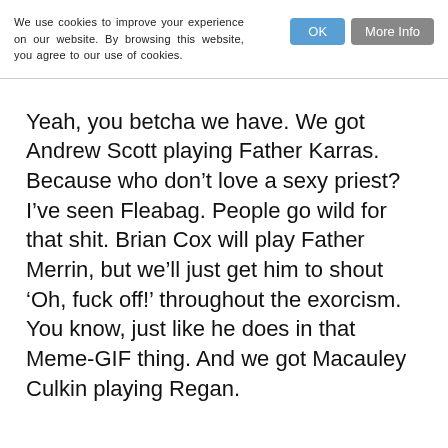We use cookies to improve your experience on our website. By browsing this website, you agree to our use of cookies.
Yeah, you betcha we have. We got Andrew Scott playing Father Karras. Because who don’t love a sexy priest? I’ve seen Fleabag. People go wild for that shit. Brian Cox will play Father Merrin, but we’ll just get him to shout ‘Oh, fuck off!’ throughout the exorcism. You know, just like he does in that Meme-GIF thing. And we got Macauley Culkin playing Regan.